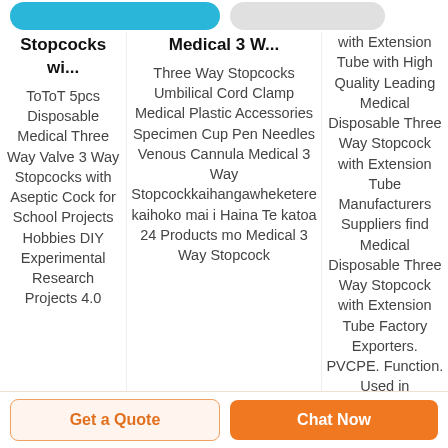[Figure (other): Top portion showing two product button tabs — a teal/blue rounded button on the left and a gray rounded button in the center-right]
Stopcocks wi...
ToToT 5pcs Disposable Medical Three Way Valve 3 Way Stopcocks with Aseptic Cock for School Projects Hobbies DIY Experimental Research Projects 4.0
Medical 3 W...
Three Way Stopcocks Umbilical Cord Clamp Medical Plastic Accessories Specimen Cup Pen Needles Venous Cannula Medical 3 Way Stopcockkaihangawheketere kaihoko mai i Haina Te katoa 24 Products mo Medical 3 Way Stopcock
with Extension Tube with High Quality Leading Medical Disposable Three Way Stopcock with Extension Tube Manufacturers Suppliers find Medical Disposable Three Way Stopcock with Extension Tube Factory Exporters. PVCPE. Function. Used in
Get a Quote
Chat Now